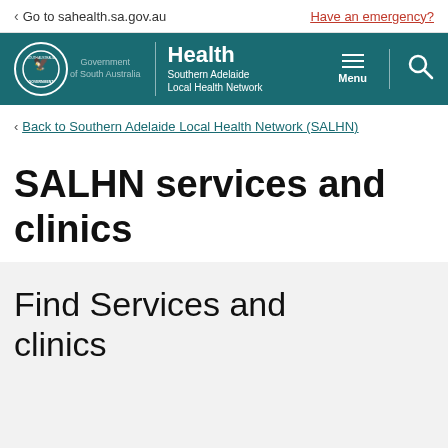Go to sahealth.sa.gov.au
Have an emergency?
[Figure (logo): South Australia Government / Southern Adelaide Local Health Network logo with Health branding on teal banner]
Back to Southern Adelaide Local Health Network (SALHN)
SALHN services and clinics
Find Services and clinics